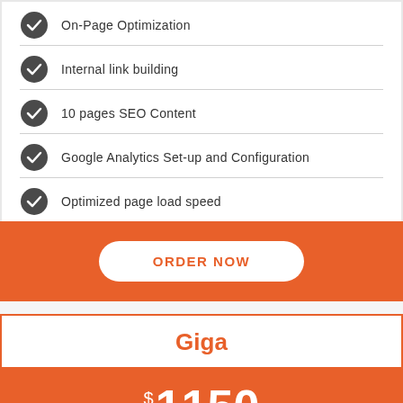On-Page Optimization
Internal link building
10 pages SEO Content
Google Analytics Set-up and Configuration
Optimized page load speed
ORDER NOW
Giga
$1150 / Month